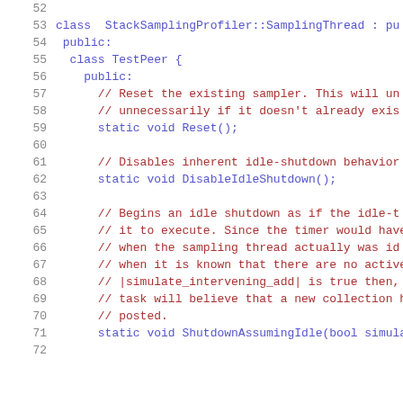[Figure (screenshot): Source code listing showing lines 52-72 of a C++ file defining StackSamplingProfiler::SamplingThread class with TestPeer inner class, including comments and method declarations for Reset, DisableIdleShutdown, and ShutdownAssumingIdle.]